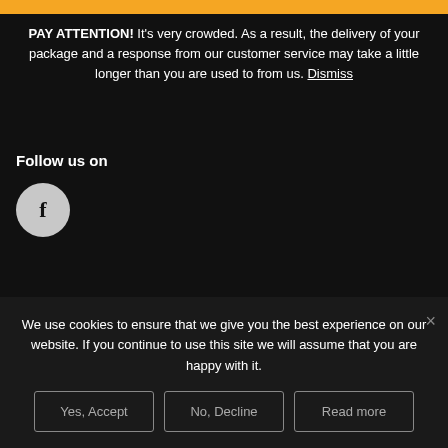PAY ATTENTION! It's very crowded. As a result, the delivery of your package and a response from our customer service may take a little longer than you are used to from us. Dismiss
Follow us on
[Figure (illustration): Facebook icon: grey circle with bold letter f]
Enter your search
We use cookies to ensure that we give you the best experience on our website. If you continue to use this site we will assume that you are happy with it.
Yes, Accept | No, Decline | Read more